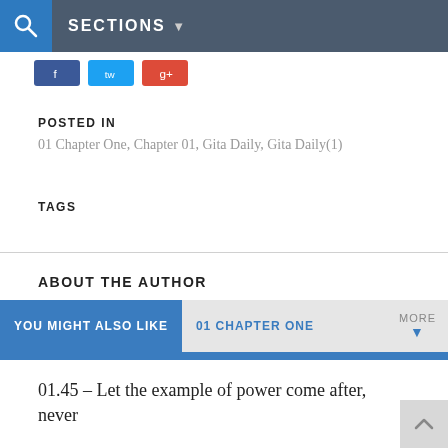SECTIONS
POSTED IN
01 Chapter One, Chapter 01, Gita Daily, Gita Daily(1)
TAGS
ABOUT THE AUTHOR
YOU MIGHT ALSO LIKE  01 CHAPTER ONE  MORE
01.45 – Let the example of power come after, never